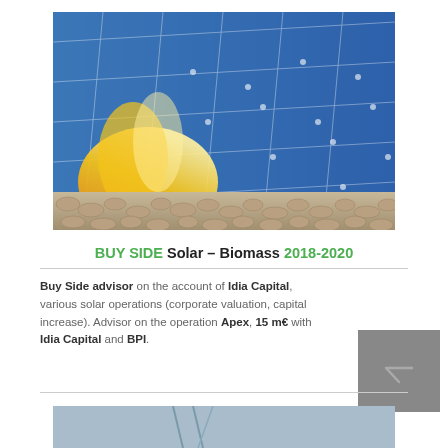[Figure (photo): Photo of solar panels with fire and biomass pellets in the foreground — representing solar and biomass energy.]
BUY SIDE Solar – Biomass 2018-2020
Buy Side advisor on the account of Idia Capital, various solar operations (corporate valuation, capital increase). Advisor on the operation Apex, 15 m€ with Idia Capital and BPI.
[Figure (photo): Partial view of another photo at the bottom of the page, showing what appears to be a wind or industrial structure.]